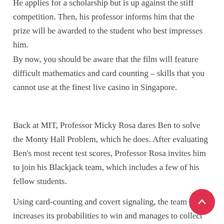He applies for a scholarship but is up against the stiff competition. Then, his professor informs him that the prize will be awarded to the student who best impresses him.
By now, you should be aware that the film will feature difficult mathematics and card counting – skills that you cannot use at the finest live casino in Singapore.
Back at MIT, Professor Micky Rosa dares Ben to solve the Monty Hall Problem, which he does. After evaluating Ben's most recent test scores, Professor Rosa invites him to join his Blackjack team, which includes a few of his fellow students.
Using card-counting and covert signaling, the team increases its probabilities to win and manages to collect significant rewards. The Blackjack team starts going to Las Vegas